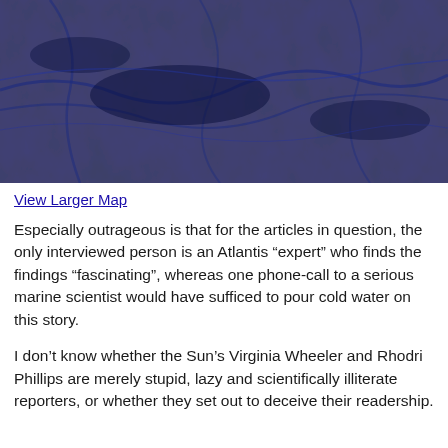[Figure (map): Dark navy blue ocean floor map showing underwater topography with ridges and trenches]
View Larger Map
Especially outrageous is that for the articles in question, the only interviewed person is an Atlantis “expert” who finds the findings “fascinating”, whereas one phone-call to a serious marine scientist would have sufficed to pour cold water on this story.
I don’t know whether the Sun’s Virginia Wheeler and Rhodri Phillips are merely stupid, lazy and scientifically illiterate reporters, or whether they set out to deceive their readership.